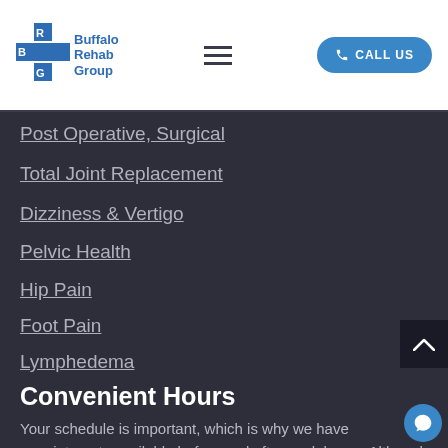Buffalo Rehab Group | CALL US
Post Operative, Surgical
Total Joint Replacement
Dizziness & Vertigo
Pelvic Health
Hip Pain
Foot Pain
Lymphedema
Convenient Hours
Your schedule is important, which is why we have appointments available before and after work hours. Although our clinics have different hours, many are